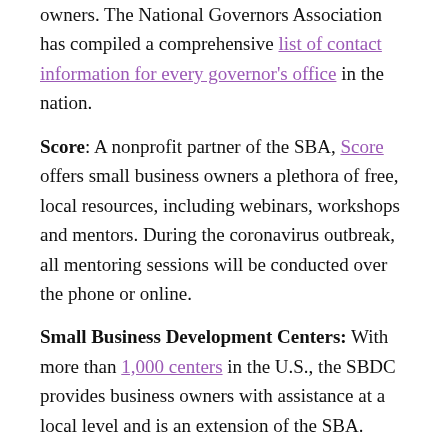owners. The National Governors Association has compiled a comprehensive list of contact information for every governor's office in the nation.
Score: A nonprofit partner of the SBA, Score offers small business owners a plethora of free, local resources, including webinars, workshops and mentors. During the coronavirus outbreak, all mentoring sessions will be conducted over the phone or online.
Small Business Development Centers: With more than 1,000 centers in the U.S., the SBDC provides business owners with assistance at a local level and is an extension of the SBA. Centers help entrepreneurs and small businesses with a variety of resources and will likely coordinate the SBA disaster loan program locally.
U.S. Chambers of Commerce: The U.S. Chamber represents more than 3 million businesses and is the